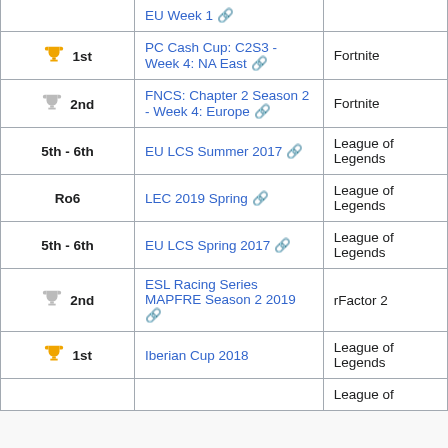| Place | Tournament | Game |
| --- | --- | --- |
| (partial) EU Week 1 |  |  |
| 🥇 1st | PC Cash Cup: C2S3 - Week 4: NA East | Fortnite |
| 🥈 2nd | FNCS: Chapter 2 Season 2 - Week 4: Europe | Fortnite |
| 5th - 6th | EU LCS Summer 2017 | League of Legends |
| Ro6 | LEC 2019 Spring | League of Legends |
| 5th - 6th | EU LCS Spring 2017 | League of Legends |
| 🥈 2nd | ESL Racing Series MAPFRE Season 2 2019 | rFactor 2 |
| 🥇 1st | Iberian Cup 2018 | League of Legends |
| (partial) |  | League of |